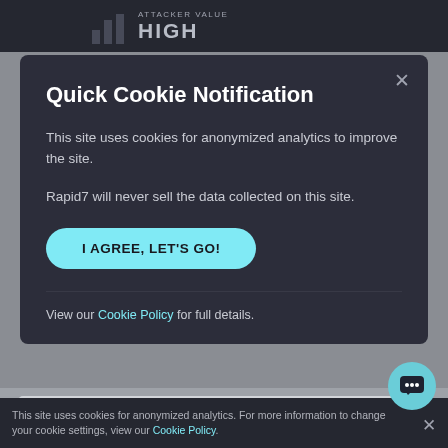[Figure (screenshot): Background showing a dark website header with bar chart icon, 'ATTACKER VALUE' label and 'HIGH' heading in gray]
Quick Cookie Notification
This site uses cookies for anonymized analytics to improve the site.
Rapid7 will never sell the data collected on this site.
I AGREE, LET'S GO!
View our Cookie Policy for full details.
See More & 1 reply
Log in to Add Reply
This site uses cookies for anonymized analytics. For more information to change your cookie settings, view our Cookie Policy.